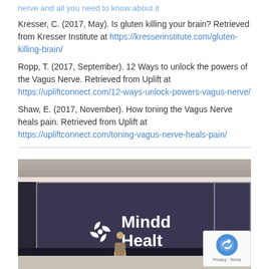nerve and all you need to know about it
Kresser, C. (2017, May). Is gluten killing your brain? Retrieved from Kresser Institute at https://kresserinstitute.com/gluten-killing-brain/
Ropp, T. (2017, September). 12 Ways to unlock the powers of the Vagus Nerve. Retrieved from Uplift at https://upliftconnect.com/12-ways-unlock-powers-vagus-nerve/
Shaw, E. (2017, November). How toning the Vagus Nerve heals pain. Retrieved from Uplift at https://upliftconnect.com/toning-vagus-nerve-heals-pain/
[Figure (photo): Presentation room with a projection screen displaying the Mindd Health logo (white stylized icon and text 'Mindd Healt' visible). A presenter stands at the front. A reCAPTCHA badge is visible in the bottom right corner with 'Privacy - Terms' text.]